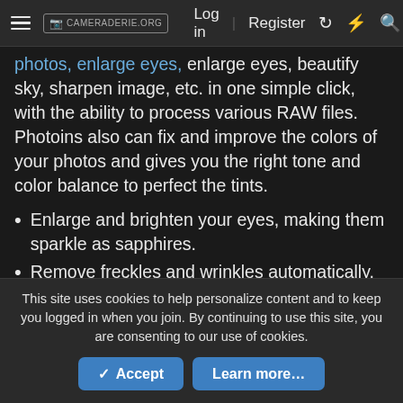≡ [📷] CAMERADERIE.ORG  Log in  Register  ↺  ⚡  🔍
photos, enlarge eyes, beautify sky, sharpen image, etc. in one simple click, with the ability to process various RAW files. Photoins also can fix and improve the colors of your photos and gives you the right tone and color balance to perfect the tints.
Enlarge and brighten your eyes, making them sparkle as sapphires.
Remove freckles and wrinkles automatically, and adjust brightness intelligently.
Smart dehaze magically blows away haziness and fogginess.
This site uses cookies to help personalize content and to keep you logged in when you join. By continuing to use this site, you are consenting to our use of cookies.